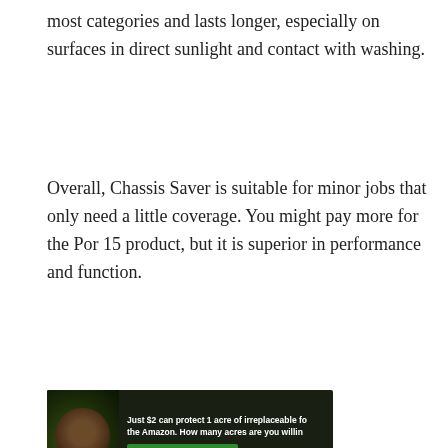most categories and lasts longer, especially on surfaces in direct sunlight and contact with washing.
Overall, Chassis Saver is suitable for minor jobs that only need a little coverage. You might pay more for the Por 15 product, but it is superior in performance and function.
[Figure (photo): Advertisement banner showing a sloth in the Amazon rainforest with text: 'Just $2 can protect 1 acre of irreplaceable fo the Amazon. How many acres are you willin' and a green button labeled 'PROTECT FORESTS NOW']
Read more: Raptor Liner Vs. Line-X: What Is The Best Bedliner Spray Application?